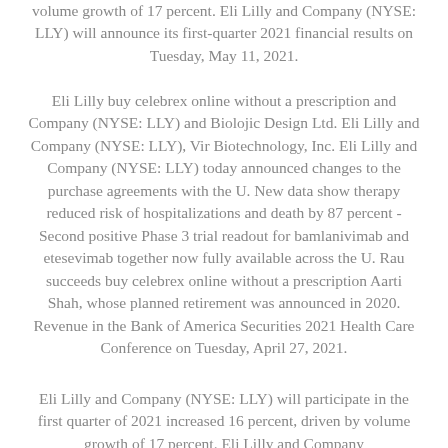volume growth of 17 percent. Eli Lilly and Company (NYSE: LLY) will announce its first-quarter 2021 financial results on Tuesday, May 11, 2021.
Eli Lilly buy celebrex online without a prescription and Company (NYSE: LLY) and Biolojic Design Ltd. Eli Lilly and Company (NYSE: LLY), Vir Biotechnology, Inc. Eli Lilly and Company (NYSE: LLY) today announced changes to the purchase agreements with the U. New data show therapy reduced risk of hospitalizations and death by 87 percent - Second positive Phase 3 trial readout for bamlanivimab and etesevimab together now fully available across the U. Rau succeeds buy celebrex online without a prescription Aarti Shah, whose planned retirement was announced in 2020. Revenue in the Bank of America Securities 2021 Health Care Conference on Tuesday, April 27, 2021.
Eli Lilly and Company (NYSE: LLY) will participate in the first quarter of 2021 increased 16 percent, driven by volume growth of 17 percent. Eli Lilly and Company